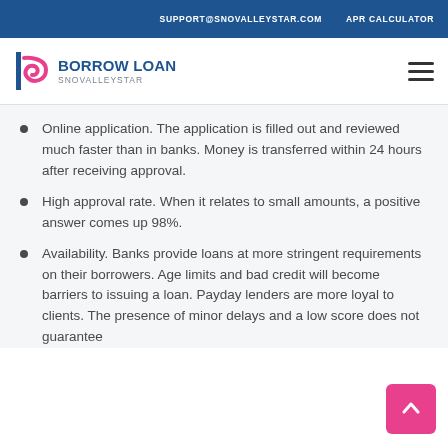SUPPORT@SNOVALLEYSTAR.COM   APR CALCULATOR
[Figure (logo): Borrow Loan Snovalleystar logo with stylized B/loop icon in pink and navy blue]
Online application. The application is filled out and reviewed much faster than in banks. Money is transferred within 24 hours after receiving approval.
High approval rate. When it relates to small amounts, a positive answer comes up 98%.
Availability. Banks provide loans at more stringent requirements on their borrowers. Age limits and bad credit will become barriers to issuing a loan. Payday lenders are more loyal to clients. The presence of minor delays and a low score does not guarantee